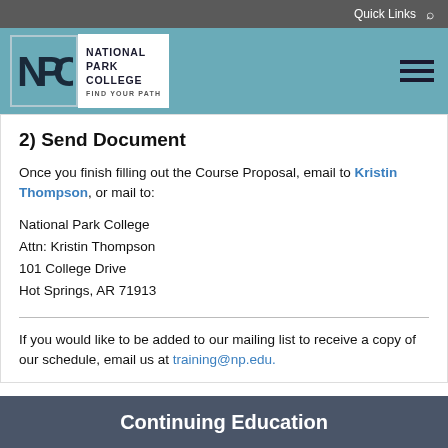Quick Links
[Figure (logo): National Park College logo with NPC icon and tagline FIND YOUR PATH]
2) Send Document
Once you finish filling out the Course Proposal, email to Kristin Thompson, or mail to:
National Park College
Attn: Kristin Thompson
101 College Drive
Hot Springs, AR 71913
If you would like to be added to our mailing list to receive a copy of our schedule, email us at training@np.edu.
Continuing Education